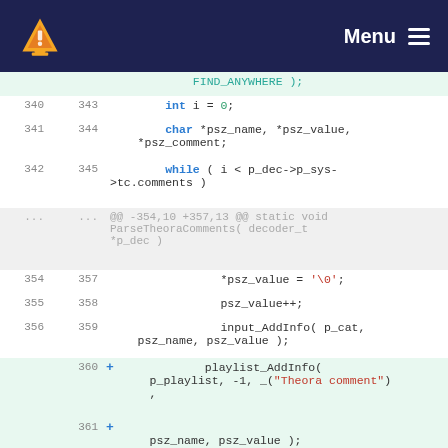VLC Menu
[Figure (screenshot): Code diff view showing C source code changes in a VLC media player source file, with line numbers, added lines highlighted in green, and a git diff hunk header.]